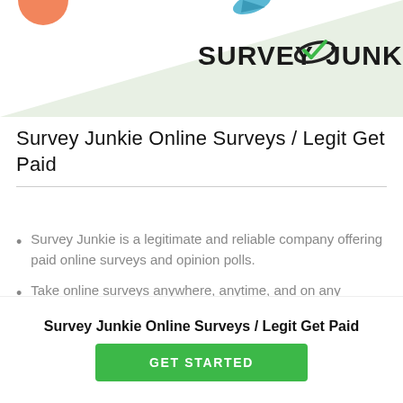[Figure (logo): Survey Junkie logo with green checkmark swoosh and dark text on a light green triangle background banner]
Survey Junkie Online Surveys / Legit Get Paid
Survey Junkie is a legitimate and reliable company offering paid online surveys and opinion polls.
Take online surveys anywhere, anytime, and on any device.
Survey Junkie Online Surveys / Legit Get Paid
GET STARTED